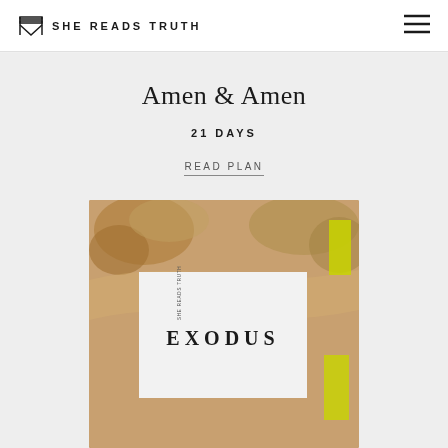SHE READS TRUTH
Amen & Amen
21 DAYS
READ PLAN
[Figure (photo): Exodus book cover with sandy/earthy background, white card overlay with EXODUS text, yellow accent elements, shown partially cropped at bottom of page]